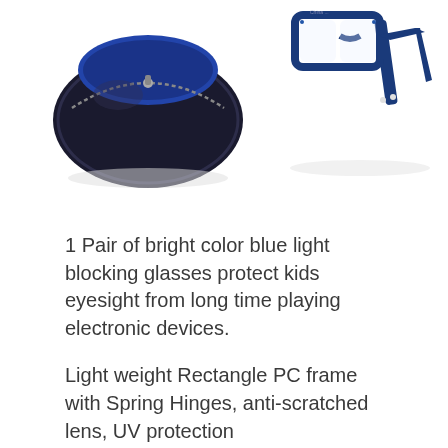[Figure (photo): Product photo showing a navy blue zipper glasses case on the left and a pair of blue rectangular eyeglass frames (folded) on the right, against a white background.]
1 Pair of bright color blue light blocking glasses protect kids eyesight from long time playing electronic devices.
Light weight Rectangle PC frame with Spring Hinges, anti-scratched lens, UV protection
Coming with matching zipper case and cleaning cloth